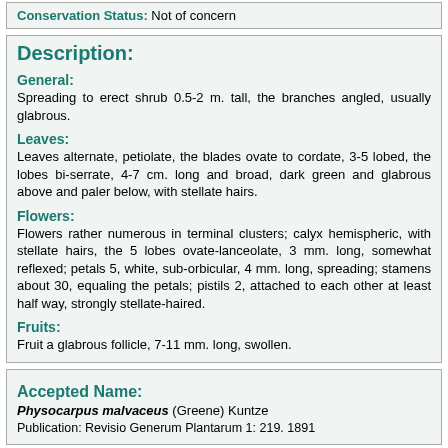Conservation Status: Not of concern
Description:
General:
Spreading to erect shrub 0.5-2 m. tall, the branches angled, usually glabrous.
Leaves:
Leaves alternate, petiolate, the blades ovate to cordate, 3-5 lobed, the lobes bi-serrate, 4-7 cm. long and broad, dark green and glabrous above and paler below, with stellate hairs.
Flowers:
Flowers rather numerous in terminal clusters; calyx hemispheric, with stellate hairs, the 5 lobes ovate-lanceolate, 3 mm. long, somewhat reflexed; petals 5, white, sub-orbicular, 4 mm. long, spreading; stamens about 30, equaling the petals; pistils 2, attached to each other at least half way, strongly stellate-haired.
Fruits:
Fruit a glabrous follicle, 7-11 mm. long, swollen.
Accepted Name:
Physocarpus malvaceus (Greene) Kuntze
Publication: Revisio Generum Plantarum 1: 219. 1891